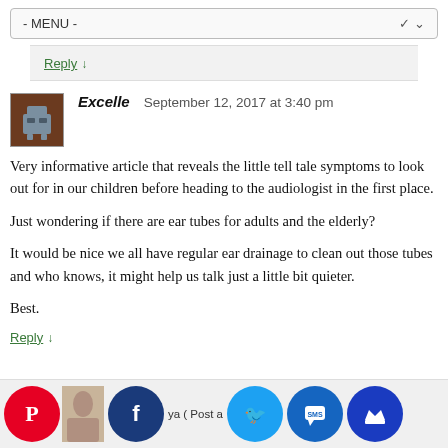- MENU -
Reply ↓
[Figure (illustration): Square pixel-art style avatar icon for user Excelle, brown background with a grey/blue rectangular figure resembling a person or robot]
Excelle   September 12, 2017 at 3:40 pm
Very informative article that reveals the little tell tale symptoms to look out for in our children before heading to the audiologist in the first place.
Just wondering if there are ear tubes for adults and the elderly?
It would be nice we all have regular ear drainage to clean out those tubes and who knows, it might help us talk just a little bit quieter.
Best.
Reply ↓
[Figure (infographic): Bottom social sharing bar with Pinterest (red), photo thumbnail, Facebook (dark blue), Twitter (light blue), SMS (blue), and crown icon (dark blue) circular buttons; partial post author text visible]